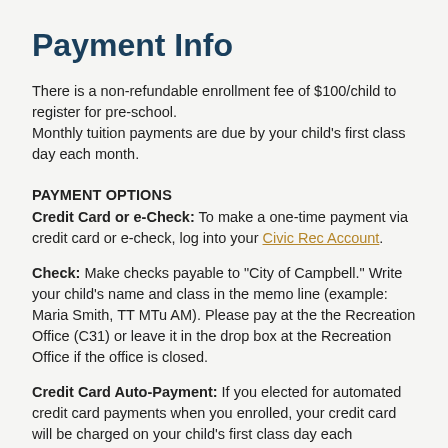Payment Info
There is a non-refundable enrollment fee of $100/child to register for pre-school.
Monthly tuition payments are due by your child's first class day each month.
PAYMENT OPTIONS
Credit Card or e-Check: To make a one-time payment via credit card or e-check, log into your Civic Rec Account.
Check: Make checks payable to "City of Campbell." Write your child's name and class in the memo line (example: Maria Smith, TT MTu AM). Please pay at the the Recreation Office (C31) or leave it in the drop box at the Recreation Office if the office is closed.
Credit Card Auto-Payment: If you elected for automated credit card payments when you enrolled, your credit card will be charged on your child's first class day each